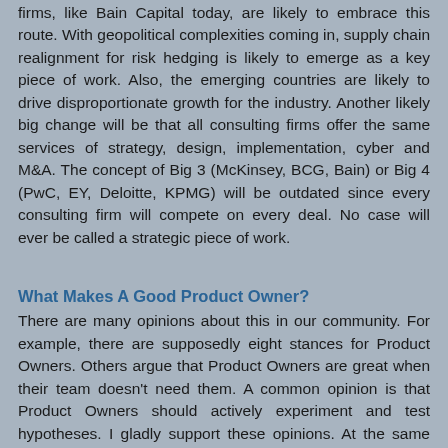firms, like Bain Capital today, are likely to embrace this route. With geopolitical complexities coming in, supply chain realignment for risk hedging is likely to emerge as a key piece of work. Also, the emerging countries are likely to drive disproportionate growth for the industry. Another likely big change will be that all consulting firms offer the same services of strategy, design, implementation, cyber and M&A. The concept of Big 3 (McKinsey, BCG, Bain) or Big 4 (PwC, EY, Deloitte, KPMG) will be outdated since every consulting firm will compete on every deal. No case will ever be called a strategic piece of work.
What Makes A Good Product Owner?
There are many opinions about this in our community. For example, there are supposedly eight stances for Product Owners. Others argue that Product Owners are great when their team doesn't need them. A common opinion is that Product Owners should actively experiment and test hypotheses. I gladly support these opinions. At the same time, I wonder what a scientific perspective has to offer. From our own quantitative research with 1.200 Scrum Teams, we know that teams are more effective when th...